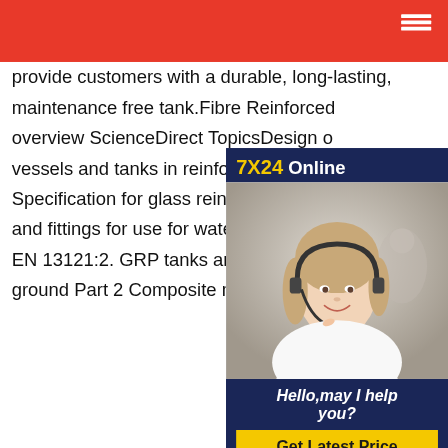provide customers with a durable, long-lasting, maintenance free tank.Fibre Reinforced overview ScienceDirect TopicsDesign of vessels and tanks in reinforced plastics Specification for glass reinforced plastic and fittings for use for water supply and EN 13121:2. GRP tanks and vessels for ground Part 2 Composite materials Che
[Figure (other): Online chat support widget showing '7X24 Online' header with yellow text on dark blue background, photo of a woman wearing a headset smiling, and a 'Hello, may I help you?' message with a 'Get Latest Price' yellow button]
Flowtite GRP Pipe Systems and Solu
Amiblu is a 50:50 joint venture whose goal is to develop and deliver world-class GRP pipes and fittings to sustainably solve the worlds water and sewer challenges. Amiblu combines Amiantit Europe and its Flowtite Technology, and Hobas Europe, part of WIG